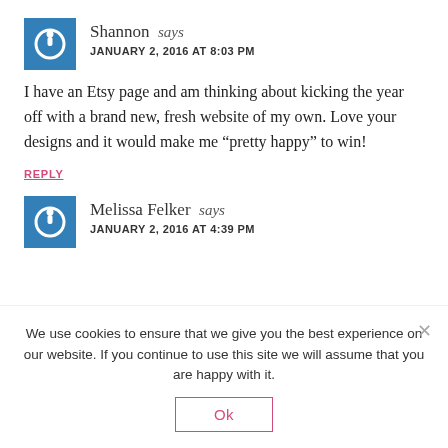Shannon says JANUARY 2, 2016 AT 8:03 PM
I have an Etsy page and am thinking about kicking the year off with a brand new, fresh website of my own. Love your designs and it would make me “pretty happy” to win!
REPLY
Melissa Felker says JANUARY 2, 2016 AT 4:39 PM
We use cookies to ensure that we give you the best experience on our website. If you continue to use this site we will assume that you are happy with it.
Ok